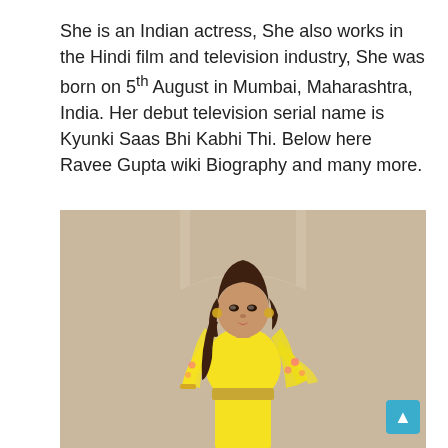She is an Indian actress, She also works in the Hindi film and television industry, She was born on 5th August in Mumbai, Maharashtra, India. Her debut television serial name is Kyunki Saas Bhi Kabhi Thi. Below here Ravee Gupta wiki Biography and many more.
[Figure (photo): A woman wearing a bright yellow embroidered lehenga/saree outfit with floral dupatta, posing with hands on hips against a beige decorative wall background.]